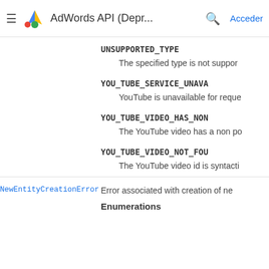AdWords API (Depr...  Acceder
UNSUPPORTED_TYPE
The specified type is not suppor
YOU_TUBE_SERVICE_UNAVA
YouTube is unavailable for reque
YOU_TUBE_VIDEO_HAS_NON
The YouTube video has a non po
YOU_TUBE_VIDEO_NOT_FOU
The YouTube video id is syntacti
NewEntityCreationError
Error associated with creation of ne
Enumerations